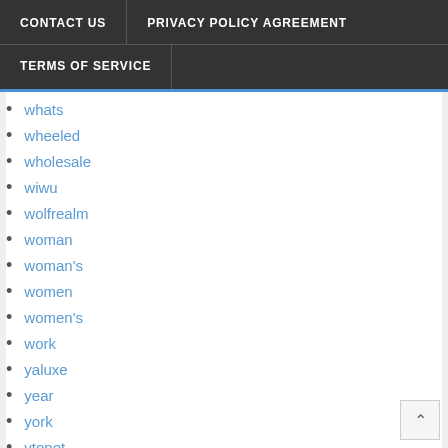CONTACT US | PRIVACY POLICY AGREEMENT | TERMS OF SERVICE
whats
wheeled
wholesale
wiwu
wolfrealm
woman
woman's
women
women's
work
yaluxe
year
york
ytonet